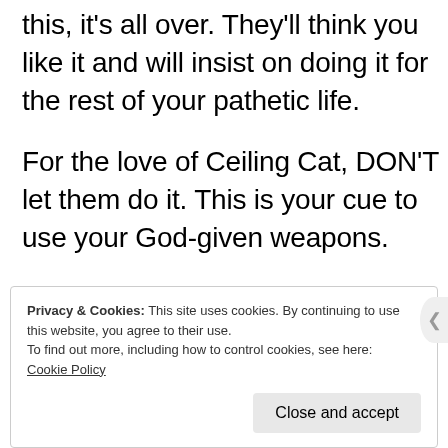this, it's all over. They'll think you like it and will insist on doing it for the rest of your pathetic life.
For the love of Ceiling Cat, DON'T let them do it. This is your cue to use your God-given weapons.
Teeth and CLAWS.
GOOD LUCK.
Privacy & Cookies: This site uses cookies. By continuing to use this website, you agree to their use.
To find out more, including how to control cookies, see here: Cookie Policy